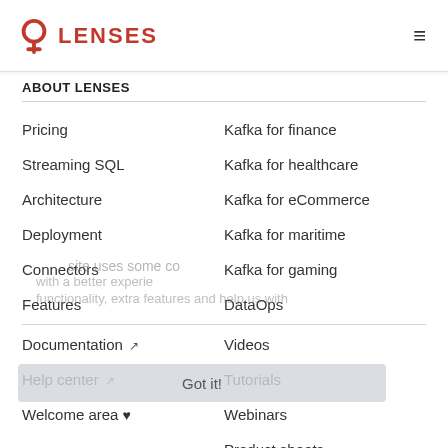LENSES
ABOUT LENSES
Pricing
Kafka for finance
Streaming SQL
Kafka for healthcare
Architecture
Kafka for eCommerce
Deployment
Kafka for maritime
Connectors
Kafka for gaming
Features
DataOps
Documentation
Videos
Help center
Tutorials
Welcome area
Webinars
Product sheets